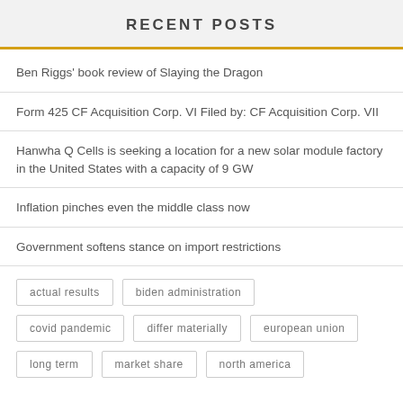RECENT POSTS
Ben Riggs' book review of Slaying the Dragon
Form 425 CF Acquisition Corp. VI Filed by: CF Acquisition Corp. VII
Hanwha Q Cells is seeking a location for a new solar module factory in the United States with a capacity of 9 GW
Inflation pinches even the middle class now
Government softens stance on import restrictions
actual results  biden administration  covid pandemic  differ materially  european union  long term  market share  north america